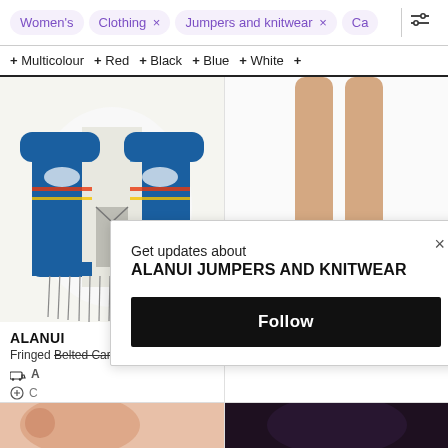Women's  Clothing ×  Jumpers and knitwear ×  Ca...
+ Multicolour  + Red  + Black  + Blue  + White  +
[Figure (photo): Left product: Alanui fringed belted cardigan in blue multicolour knitwear with fringe details]
[Figure (photo): Right product: Alanui item showing model legs wearing orange heeled sandals, white background]
ALANUI
Fringed Belted Cardigan - Blue
ALANUI
"the Sound Of The Ocean"
Get updates about
ALANUI JUMPERS AND KNITWEAR
Follow
[Figure (photo): Bottom left: partially visible colourful product image (pink/floral tones)]
[Figure (photo): Bottom right: partially visible dark/black product image]